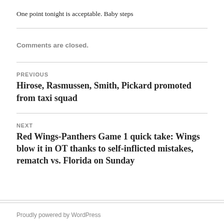One point tonight is acceptable. Baby steps
Comments are closed.
PREVIOUS
Hirose, Rasmussen, Smith, Pickard promoted from taxi squad
NEXT
Red Wings-Panthers Game 1 quick take: Wings blow it in OT thanks to self-inflicted mistakes, rematch vs. Florida on Sunday
Proudly powered by WordPress